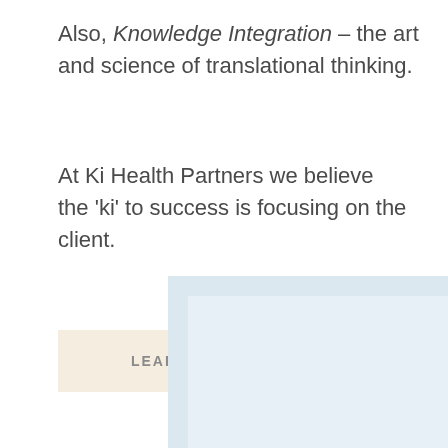Also, Knowledge Integration – the art and science of translational thinking.
At Ki Health Partners we believe the 'ki' to success is focusing on the client.
LEARN MORE
[Figure (other): Light blue/grey rectangular placeholder image area, partially visible at bottom right of page]